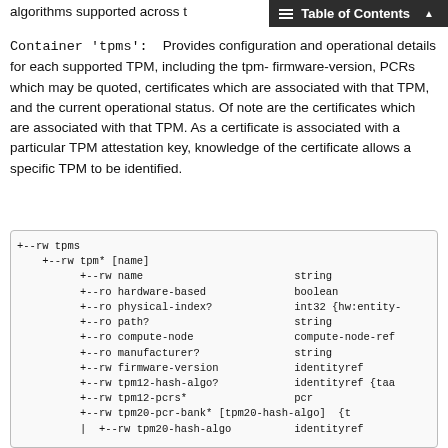Table of Contents
algorithms supported across t
Container 'tpms':    Provides configuration and operational details for each supported TPM, including the tpm-firmware-version, PCRs which may be quoted, certificates which are associated with that TPM, and the current operational status. Of note are the certificates which are associated with that TPM. As a certificate is associated with a particular TPM attestation key, knowledge of the certificate allows a specific TPM to be identified.
[Figure (other): YANG tree diagram showing tpms container with tpm* [name] list and child nodes: name (string), hardware-based (boolean), physical-index? (int32 {hw:entity-}), path? (string), compute-node (compute-node-ref), manufacturer? (string), firmware-version (identityref), tpm12-hash-algo? (identityref {taa}), tpm12-pcrs* (pcr), tpm20-pcr-bank* [tpm20-hash-algo] {t, and | +--rw tpm20-hash-algo (identityref)]